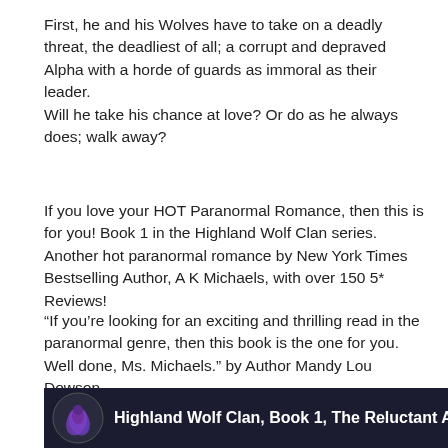First, he and his Wolves have to take on a deadly threat, the deadliest of all; a corrupt and depraved Alpha with a horde of guards as immoral as their leader.
Will he take his chance at love? Or do as he always does; walk away?
If you love your HOT Paranormal Romance, then this is for you! Book 1 in the Highland Wolf Clan series. Another hot paranormal romance by New York Times Bestselling Author, A K Michaels, with over 150 5* Reviews!
“If you’re looking for an exciting and thrilling read in the paranormal genre, then this book is the one for you.
Well done, Ms. Michaels.” by Author Mandy Lou Dowson
[Figure (screenshot): Dark book promotional banner showing a logo (purple bird/phoenix on dark circular background) on the left, with white bold text reading 'Highland Wolf Clan, Book 1, The Reluctant Alp.' and a dark background with faint text and a woman's face on the right.]